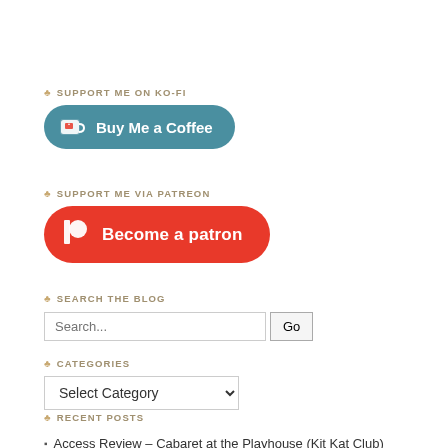♣ SUPPORT ME ON KO-FI
[Figure (other): Ko-fi 'Buy Me a Coffee' button — teal rounded rectangle with coffee cup icon and white text]
♣ SUPPORT ME VIA PATREON
[Figure (other): Patreon 'Become a patron' button — red rounded rectangle with Patreon logo and white text]
♣ SEARCH THE BLOG
Search... [input field] Go [button]
♣ CATEGORIES
Select Category [dropdown]
♣ RECENT POSTS
Access Review – Cabaret at the Playhouse (Kit Kat Club)